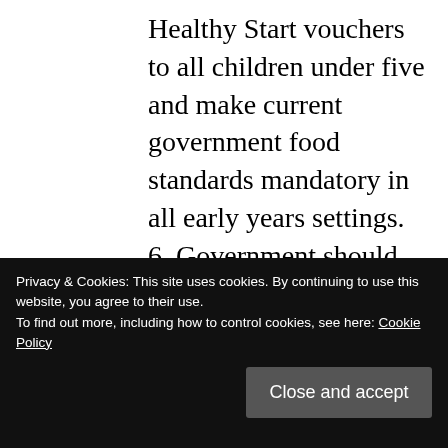Healthy Start vouchers to all children under five and make current government food standards mandatory in all early years settings. 6. Government should prioritize support to deprived localities by increasing the spending available to schools serving the most disadvantaged pupils in England. This requires a reversal of the current approach to resource allocation: the new national funding formula will
Privacy & Cookies: This site uses cookies. By continuing to use this website, you agree to their use. To find out more, including how to control cookies, see here: Cookie Policy